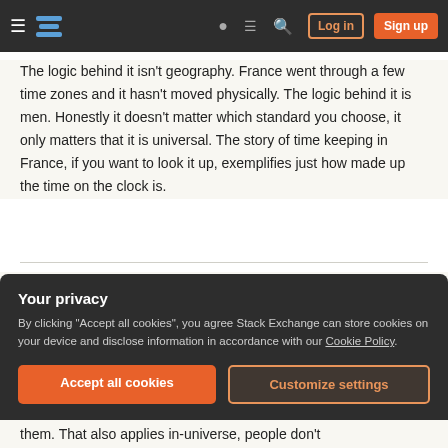Stack Exchange navigation bar with hamburger menu, logo, help icon, chat icon, search icon, Log in button, Sign up button
The logic behind it isn't geography. France went through a few time zones and it hasn't moved physically. The logic behind it is men. Honestly it doesn't matter which standard you choose, it only matters that it is universal. The story of time keeping in France, if you want to look it up, exemplifies just how made up the time on the clock is.
If you don't use UTC or similar and instead make your own standard, remember a few things.
Your privacy
By clicking "Accept all cookies", you agree Stack Exchange can store cookies on your device and disclose information in accordance with our Cookie Policy.
them. That also applies in-universe, people don't